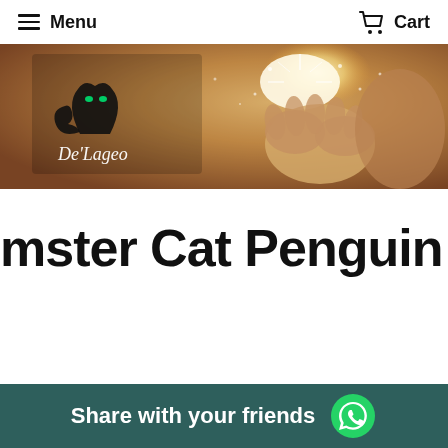Menu   Cart
[Figure (illustration): De'Lageo banner image showing a cat logo on the left and a person holding sparkling/glowing light in their hands on a warm brownish background]
mster Cat Penguin Beads Enamel
Share with your friends